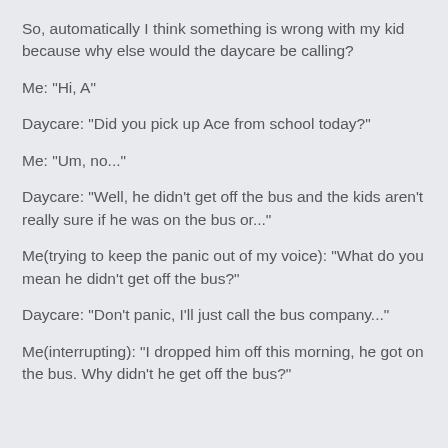So, automatically I think something is wrong with my kid because why else would the daycare be calling?
Me: "Hi, A"
Daycare: "Did you pick up Ace from school today?"
Me: "Um, no..."
Daycare: "Well, he didn't get off the bus and the kids aren't really sure if he was on the bus or..."
Me(trying to keep the panic out of my voice): "What do you mean he didn't get off the bus?"
Daycare: "Don't panic, I'll just call the bus company..."
Me(interrupting): "I dropped him off this morning, he got on the bus. Why didn't he get off the bus?"